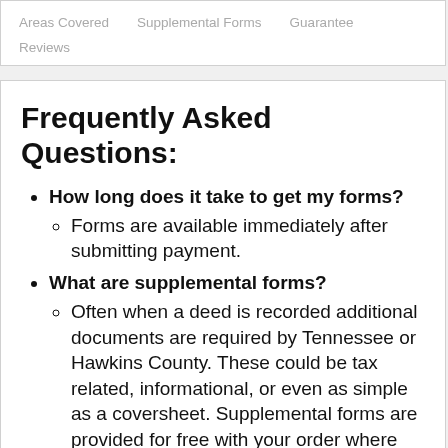Areas Covered   Supplemental Forms   Guarantee   Reviews
Frequently Asked Questions:
How long does it take to get my forms?
Forms are available immediately after submitting payment.
What are supplemental forms?
Often when a deed is recorded additional documents are required by Tennessee or Hawkins County. These could be tax related, informational, or even as simple as a coversheet. Supplemental forms are provided for free with your order where available.